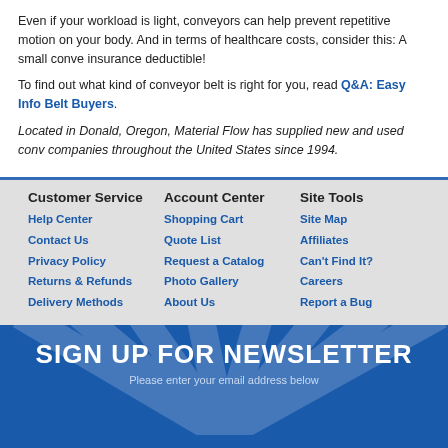Even if your workload is light, conveyors can help prevent repetitive motion on your body. And in terms of healthcare costs, consider this: A small conve insurance deductible!
To find out what kind of conveyor belt is right for you, read Q&A: Easy Info Belt Buyers.
Located in Donald, Oregon, Material Flow has supplied new and used conv companies throughout the United States since 1994.
Customer Service
Help Center
Contact Us
Privacy Policy
Returns & Refunds
Delivery Methods
Account Center
Shopping Cart
Quote List
Request a Catalog
Photo Gallery
About Us
Site Tools
Site Map
Affiliates
Can't Find It?
Careers
Report a Bug
SIGN UP FOR NEWSLETTER
Please enter your email address below